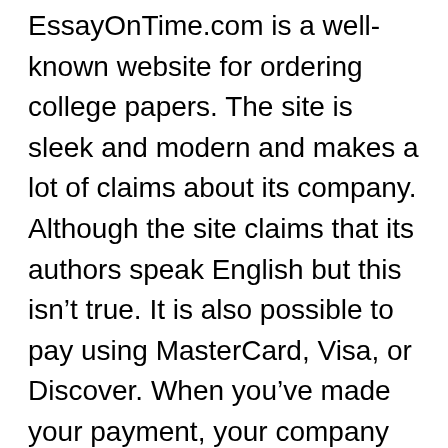EssayOnTime.com is a well-known website for ordering college papers. The site is sleek and modern and makes a lot of claims about its company. Although the site claims that its authors speak English but this isn't true. It is also possible to pay using MasterCard, Visa, or Discover. When you've made your payment, your company will begin searching for the right author to complete your task. It is then possible to monitor your order and be notified of it when it is complete.
While Essay-on-Time.com boasts over 500 writers, many whom have Master's degrees, its writers are not native English users. The non-native English natives have a higher likelihood of writing proficiently than native English speakers. In addition, Essay-onTime has employed specialists in